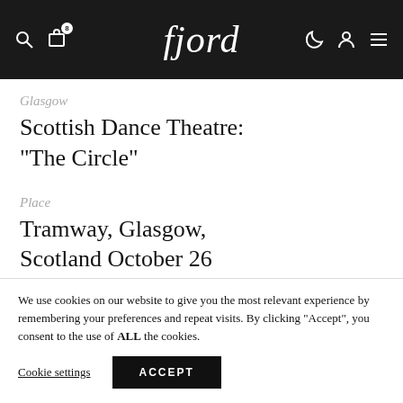fjord — navigation bar with search, bag (8), logo, moon, account, menu icons
Glasgow
Scottish Dance Theatre: “The Circle”
Place
Tramway, Glasgow,
Scotland October 26
We use cookies on our website to give you the most relevant experience by remembering your preferences and repeat visits. By clicking “Accept”, you consent to the use of ALL the cookies.
Cookie settings
ACCEPT